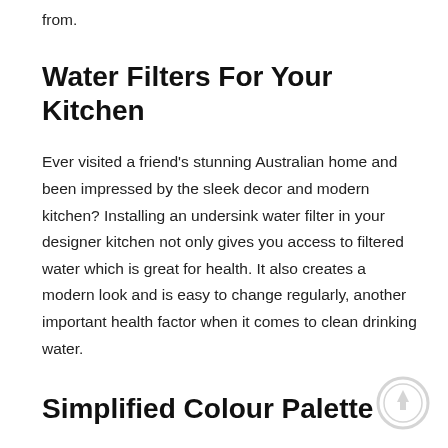from.
Water Filters For Your Kitchen
Ever visited a friend's stunning Australian home and been impressed by the sleek decor and modern kitchen? Installing an undersink water filter in your designer kitchen not only gives you access to filtered water which is great for health. It also creates a modern look and is easy to change regularly, another important health factor when it comes to clean drinking water.
Simplified Colour Palette
Colour is one of the main contemporary interior